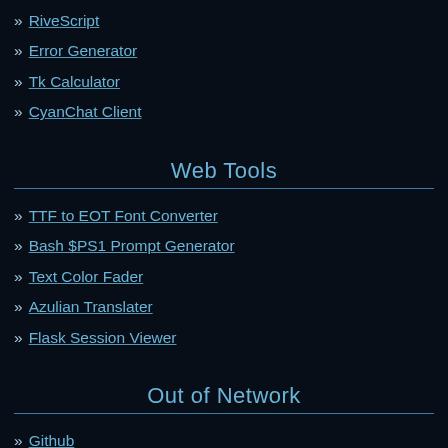» RiveScript
» Error Generator
» Tk Calculator
» CyanChat Client
Web Tools
» TTF to EOT Font Converter
» Bash $PS1 Prompt Generator
» Text Color Fader
» Azulian Translater
» Flask Session Viewer
Out of Network
» Github
» CPAN
» npm